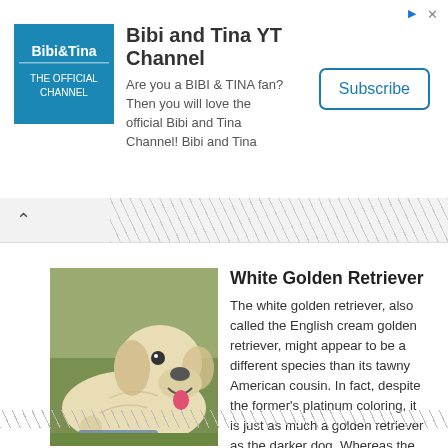[Figure (screenshot): Bibi and Tina YT Channel advertisement banner with logo, description text, and Subscribe button]
White Golden Retriever
[Figure (photo): A white/cream golden retriever dog lying on grass outdoors]
The white golden retriever, also called the English cream golden retriever, might appear to be a different species than its tawny American cousin. In fact, despite the former's platinum coloring, it is just as much a golden retriever as the darker dog. Whereas the American Kennel Club influenced the development of the classically gold-coated golden [...]